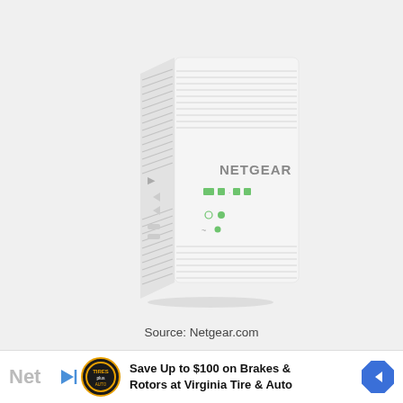[Figure (photo): A white NETGEAR WiFi range extender/mesh satellite device shown at an angle on a light grey background. The device is tall and rectangular with ventilation grilles on the left side, the NETGEAR logo on the front, and green LED indicator lights visible.]
Source: Netgear.com
[Figure (other): Advertisement banner: Play button icon, Tires Plus / Auto circular logo, text 'Save Up to $100 on Brakes & Rotors at Virginia Tire & Auto', and a blue diamond-shaped navigation arrow icon on the right.]